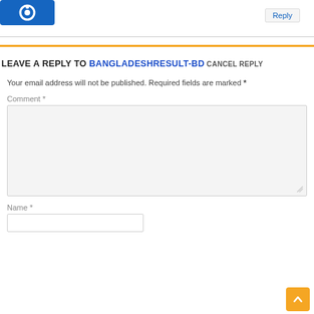[Figure (logo): Blue square avatar icon with circular design]
Reply
LEAVE A REPLY TO BANGLADESHRESULT-BD CANCEL REPLY
Your email address will not be published. Required fields are marked *
Comment *
Name *